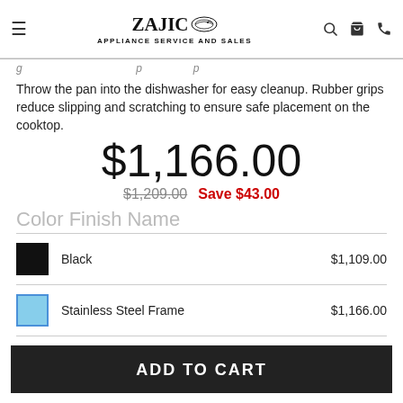ZAJIC APPLIANCE SERVICE AND SALES
Throw the pan into the dishwasher for easy cleanup. Rubber grips reduce slipping and scratching to ensure safe placement on the cooktop.
$1,166.00
$1,209.00  Save $43.00
Color Finish Name
| Swatch | Name | Price |
| --- | --- | --- |
| Black swatch | Black | $1,109.00 |
| Stainless Steel Frame swatch | Stainless Steel Frame | $1,166.00 |
ADD TO CART